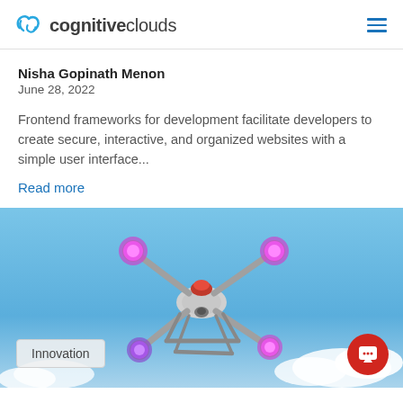cognitiveclouds
Nisha Gopinath Menon
June 28, 2022
Frontend frameworks for development facilitate developers to create secure, interactive, and organized websites with a simple user interface...
Read more
[Figure (photo): A white quadcopter drone with glowing purple/pink propeller tips photographed from below against a blue sky with white clouds. A red cap is visible on top of the drone.]
Innovation